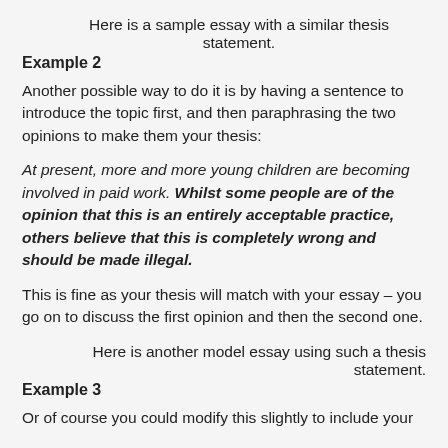Here is a sample essay with a similar thesis statement.
Example 2
Another possible way to do it is by having a sentence to introduce the topic first, and then paraphrasing the two opinions to make them your thesis:
At present, more and more young children are becoming involved in paid work. Whilst some people are of the opinion that this is an entirely acceptable practice, others believe that this is completely wrong and should be made illegal.
This is fine as your thesis will match with your essay – you go on to discuss the first opinion and then the second one.
Here is another model essay using such a thesis statement.
Example 3
Or of course you could modify this slightly to include your